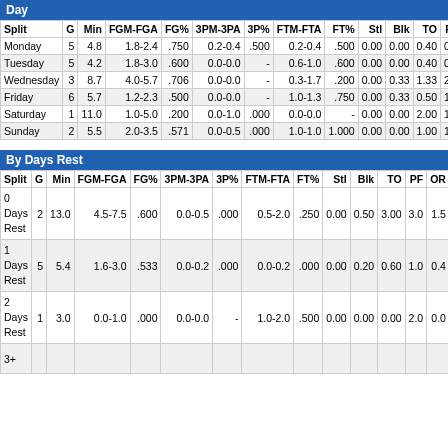Day
| Split | G | Min | FGM-FGA | FG% | 3PM-3PA | 3P% | FTM-FTA | FT% | Stl | Blk | TO | PF |
| --- | --- | --- | --- | --- | --- | --- | --- | --- | --- | --- | --- | --- |
| Monday | 5 | 4.8 | 1.8-2.4 | .750 | 0.2-0.4 | .500 | 0.2-0.4 | .500 | 0.00 | 0.00 | 0.40 | 0.6 |
| Tuesday | 5 | 4.2 | 1.8-3.0 | .600 | 0.0-0.0 | - | 0.6-1.0 | .600 | 0.00 | 0.00 | 0.40 | 0.6 |
| Wednesday | 3 | 8.7 | 4.0-5.7 | .706 | 0.0-0.0 | - | 0.3-1.7 | .200 | 0.00 | 0.33 | 1.33 | 2.7 |
| Friday | 6 | 5.7 | 1.2-2.3 | .500 | 0.0-0.0 | - | 1.0-1.3 | .750 | 0.00 | 0.33 | 0.50 | 1.2 |
| Saturday | 1 | 11.0 | 1.0-5.0 | .200 | 0.0-1.0 | .000 | 0.0-0.0 | - | 0.00 | 0.00 | 2.00 | 1.0 |
| Sunday | 2 | 5.5 | 2.0-3.5 | .571 | 0.0-0.5 | .000 | 1.0-1.0 | 1.000 | 0.00 | 0.00 | 1.00 | 1.0 |
By Days Rest
| Split | G | Min | FGM-FGA | FG% | 3PM-3PA | 3P% | FTM-FTA | FT% | Stl | Blk | TO | PF | OR | DR |
| --- | --- | --- | --- | --- | --- | --- | --- | --- | --- | --- | --- | --- | --- | --- |
| 0 Days Rest | 2 | 13.0 | 4.5-7.5 | .600 | 0.0-0.5 | .000 | 0.5-2.0 | .250 | 0.00 | 0.50 | 3.00 | 3.0 | 1.5 | 4.5 |
| 1 Days Rest | 5 | 5.4 | 1.6-3.0 | .533 | 0.0-0.2 | .000 | 0.0-0.2 | .000 | 0.00 | 0.20 | 0.60 | 1.0 | 0.4 | 0.8 |
| 2 Days Rest | 1 | 3.0 | 0.0-1.0 | .000 | 0.0-0.0 | - | 1.0-2.0 | .500 | 0.00 | 0.00 | 0.00 | 2.0 | 0.0 | 0.0 |
| 3+ |  |  |  |  |  |  |  |  |  |  |  |  |  |  |